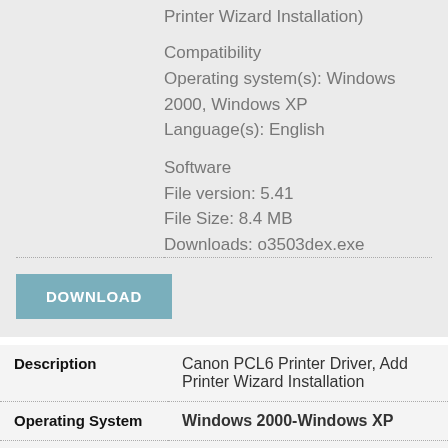Printer Wizard Installation)
Compatibility
Operating system(s): Windows 2000, Windows XP
Language(s): English
Software
File version: 5.41
File Size: 8.4 MB
Downloads: o3503dex.exe
DOWNLOAD
|  |  |
| --- | --- |
| Description | Canon PCL6 Printer Driver, Add Printer Wizard Installation |
| Operating System | Windows 2000-Windows XP |
| Version | 3.41 |
| Language | Deutsch |